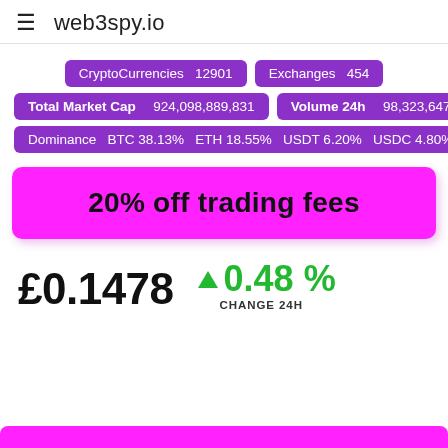≡ web3spy.io
CryptoCurrencies 12901 | Exchanges 454
Total Market Cap 924,098,889,831 | Volume 24h 98,323,647,550
Dominance BTC 38.13% ETH 18.55% USDT 6.20% USDC 4.80%
20% off trading fees
£0.1478
▲ 0.48 % CHANGE 24H